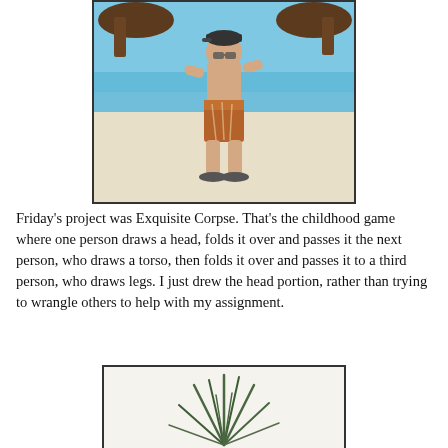[Figure (photo): A young boy standing on a beach wearing swim trunks, sandals, and a cap. Clear blue water and wooden boat structures visible in the background.]
Friday's project was Exquisite Corpse. That's the childhood game where one person draws a head, folds it over and passes it the next person, who draws a torso, then folds it over and passes it to a third person, who draws legs. I just drew the head portion, rather than trying to wrangle others to help with my assignment.
[Figure (illustration): A drawing or illustration of a plant with long grass-like leaves, on a light background.]